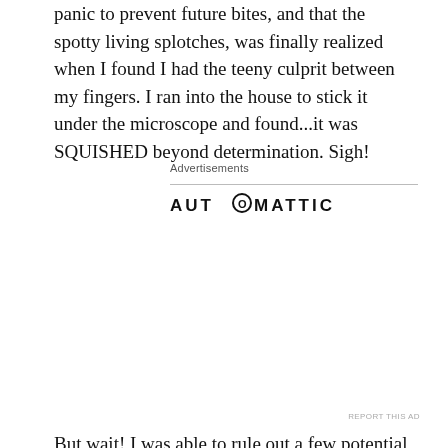panic to prevent future bites, and that the spotty living splotches, was finally realized when I found I had the teeny culprit between my fingers. I ran into the house to stick it under the microscope and found...it was SQUISHED beyond determination. Sigh!
Advertisements
[Figure (logo): Automattic logo with circular O]
[Figure (infographic): Automattic job ad: Build a better web and a better world. Apply button and person photo.]
But wait! I was able to rule out a few potential offenders. It